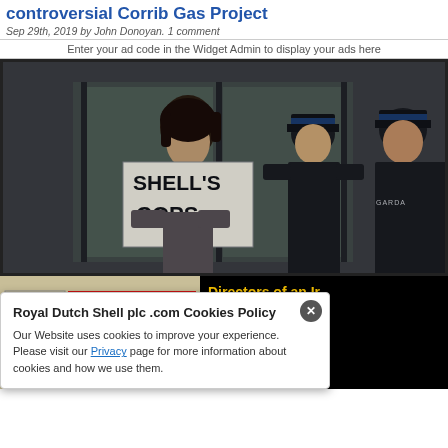controversial Corrib Gas Project
Sep 29th, 2019 by John Donoyan. 1 comment
Enter your ad code in the Widget Admin to display your ads here
[Figure (photo): Protest photo: young man holding a sign reading SHELL'S COPS with an arrow, standing next to two Garda officers in uniform outside a building]
[Figure (photo): Shop front with red sign reading SHELL · OSSL · GARDA · GIFT SHOP with parking signs and directional arrows visible]
Directors of an Ir subcontractor, OS testified und r oat in Irish cou that ribes incl over €30k in fre a to the Garda ice.
Royal Dutch Shell plc .com Cookies Policy
Our Website uses cookies to improve your experience. Please visit our Privacy page for more information about cookies and how we use them.